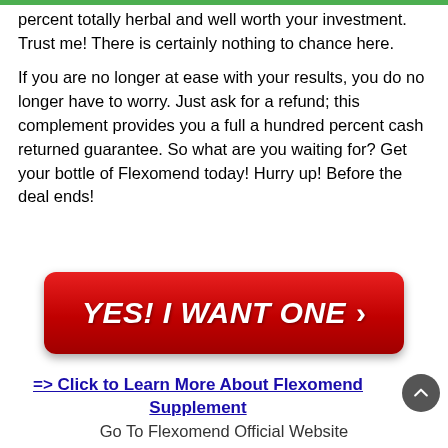percent totally herbal and well worth your investment. Trust me! There is certainly nothing to chance here.
If you are no longer at ease with your results, you do no longer have to worry. Just ask for a refund; this complement provides you a full a hundred percent cash returned guarantee. So what are you waiting for? Get your bottle of Flexomend today! Hurry up! Before the deal ends!
[Figure (other): Red call-to-action button with white italic bold text 'YES! I WANT ONE' and a right-pointing chevron arrow]
=> Click to Learn More About Flexomend Supplement
Go To Flexomend Official Website